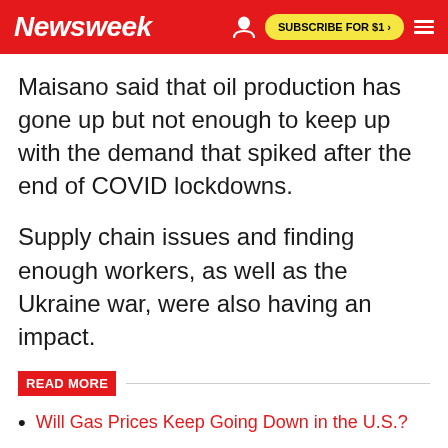Newsweek | SUBSCRIBE FOR $1 >
Maisano said that oil production has gone up but not enough to keep up with the demand that spiked after the end of COVID lockdowns.
Supply chain issues and finding enough workers, as well as the Ukraine war, were also having an impact.
READ MORE
Will Gas Prices Keep Going Down in the U.S.?
Biden Pushes Electric Cars to Free U.S. From 'Menacing Dictator' Putin